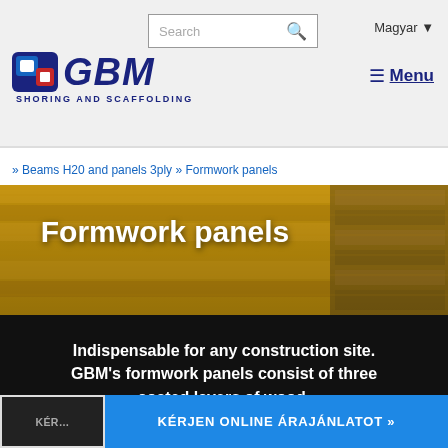[Figure (logo): GBM Shoring and Scaffolding logo with search bar and Magyar language dropdown]
» Beams H20 and panels 3ply » Formwork panels
[Figure (photo): Hero image of yellow formwork panels stacked on a construction site]
Formwork panels
Indispensable for any construction site. GBM's formwork panels consist of three coated layers of wood.
KÉRJEN ONLINE ÁRAJÁNLATOT »